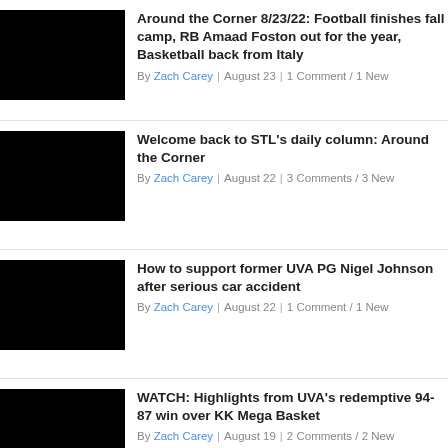Around the Corner 8/23/22: Football finishes fall camp, RB Amaad Foston out for the year, Basketball back from Italy
By Zach Carey | August 23 | 1 Comment / 1 New
Welcome back to STL's daily column: Around the Corner
By Zach Carey | August 22 | 3 Comments / 3 New
How to support former UVA PG Nigel Johnson after serious car accident
By Zach Carey | August 22 | 1 Comment / 1 New
WATCH: Highlights from UVA's redemptive 94-87 win over KK Mega Basket
By Zach Carey | August 19 | 2 Comments / 2 New